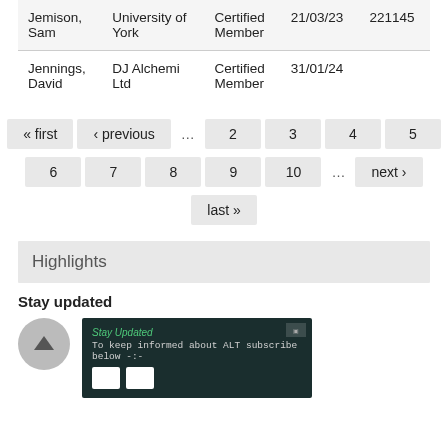| Name | Organisation | Status | Date | ID |
| --- | --- | --- | --- | --- |
| Jemison, Sam | University of York | Certified Member | 21/03/23 | 221145 |
| Jennings, David | DJ Alchemi Ltd | Certified Member | 31/01/24 |  |
« first ‹ previous … 2 3 4 5 6 7 8 9 10 … next › last »
Highlights
Stay updated
[Figure (screenshot): Promotional image with dark background reading 'Stay Updated - To keep informed about ALT subscribe below' with logos and a QR code]